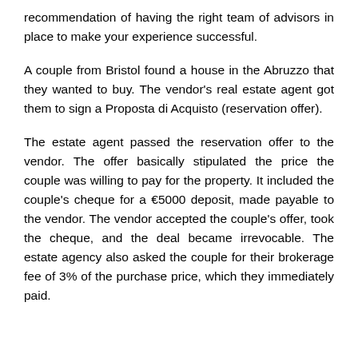recommendation of having the right team of advisors in place to make your experience successful.
A couple from Bristol found a house in the Abruzzo that they wanted to buy. The vendor's real estate agent got them to sign a Proposta di Acquisto (reservation offer).
The estate agent passed the reservation offer to the vendor. The offer basically stipulated the price the couple was willing to pay for the property. It included the couple's cheque for a €5000 deposit, made payable to the vendor. The vendor accepted the couple's offer, took the cheque, and the deal became irrevocable. The estate agency also asked the couple for their brokerage fee of 3% of the purchase price, which they immediately paid.